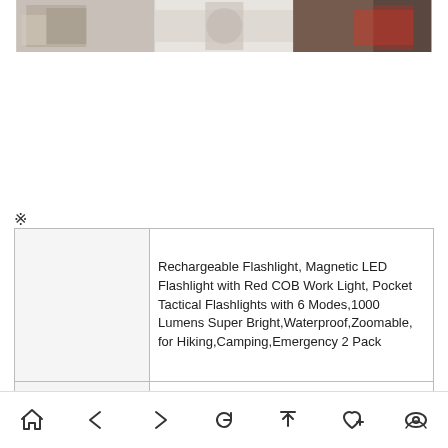[Figure (photo): Three photographs arranged side by side in a horizontal strip showing product/lifestyle images]
※
|  | Rechargeable Flashlight, Magnetic LED Flashlight with Red COB Work Light, Pocket Tactical Flashlights with 6 Modes,1000 Lumens Super Bright,Waterproof,Zoomable, for Hiking,Camping,Emergency 2 Pack |
| KCC |  |
|  |  |
Navigation bar with home, back, forward, refresh, upload, favorite, and view icons